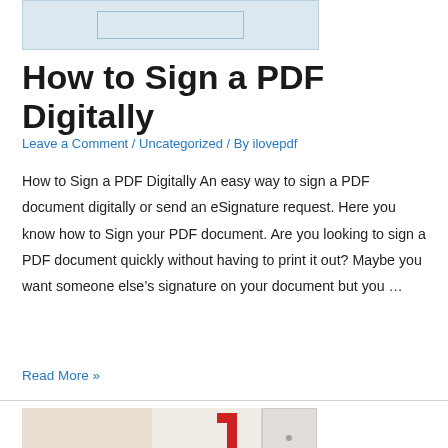[Figure (screenshot): Top portion of a screenshot showing a light blue image placeholder with a rectangular outline in the center]
How to Sign a PDF Digitally
Leave a Comment / Uncategorized / By ilovepdf
How to Sign a PDF Digitally An easy way to sign a PDF document digitally or send an eSignature request. Here you know how to Sign your PDF document. Are you looking to sign a PDF document quickly without having to print it out? Maybe you want someone else's signature on your document but you …
Read More »
[Figure (photo): Photo of a woman with long hair holding a smartphone, with red arrows pointing to something, suggesting scanning or mobile document usage]